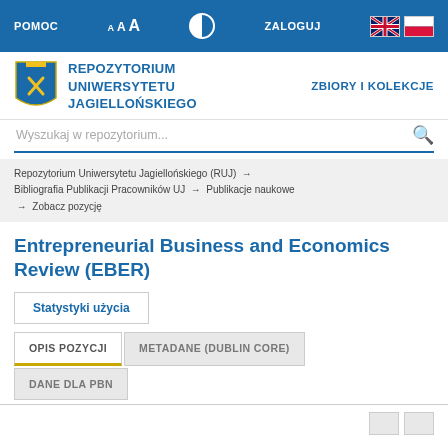POMOC   A A A   [contrast]   ZALOGUJ   [EN flag] [PL flag]
REPOZYTORIUM UNIWERSYTETU JAGIELLOŃSKIEGO
ZBIORY I KOLEKCJE
Wyszukaj w repozytorium...
Repozytorium Uniwersytetu Jagiellońskiego (RUJ) → Bibliografia Publikacji Pracowników UJ → Publikacje naukowe → Zobacz pozycję
Entrepreneurial Business and Economics Review (EBER)
Statystyki użycia
OPIS POZYCJI   METADANE (DUBLIN CORE)   DANE DLA PBN